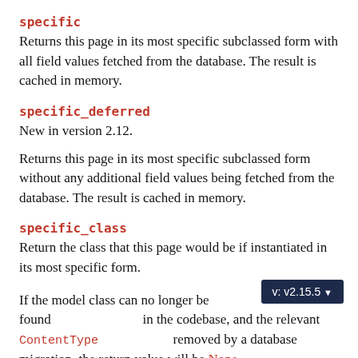specific
Returns this page in its most specific subclassed form with all field values fetched from the database. The result is cached in memory.
specific_deferred
New in version 2.12.
Returns this page in its most specific subclassed form without any additional field values being fetched from the database. The result is cached in memory.
specific_class
Return the class that this page would be if instantiated in its most specific form.
If the model class can no longer be found in the codebase, and the relevant ContentType has been removed by a database migration, the return value will be None.